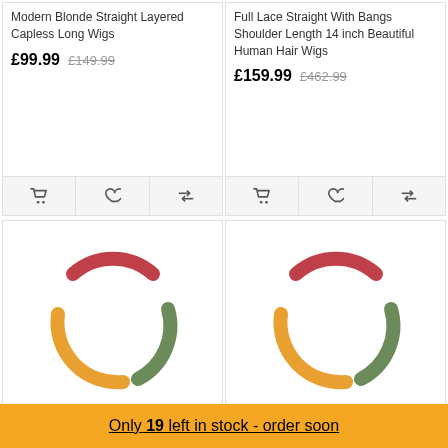Modern Blonde Straight Layered Capless Long Wigs
£99.99  £149.99
Full Lace Straight With Bangs Shoulder Length 14 inch Beautiful Human Hair Wigs
£159.99  £462.99
[Figure (illustration): Circular spinner graphic with red, green/sage, and orange/yellow arc strokes forming a ring shape - product loading illustration]
Full Lace Straight With Bangs
[Figure (illustration): Circular spinner graphic with red, green/sage, and orange/yellow arc strokes forming a ring shape - product loading illustration]
Full Lace Straight With Bangs
Only 19 left in stock - order soon